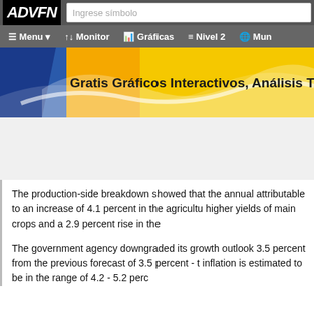ADVFN | Ingrese símbolo | Menu | Monitor | Gráficas | Nivel 2 | Mun
[Figure (screenshot): ADVFN website banner showing 'Gratis Gráficos Interactivos, Análisis Técn' on a gold/blue gradient background with wave design]
The production-side breakdown showed that the annual attributable to an increase of 4.1 percent in the agriculture higher yields of main crops and a 2.9 percent rise in the
The government agency downgraded its growth outlook 3.5 percent from the previous forecast of 3.5 percent - t inflation is estimated to be in the range of 4.2 - 5.2 perc